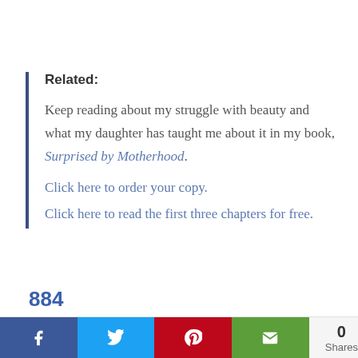Related: Keep reading about my struggle with beauty and what my daughter has taught me about it in my book, Surprised by Motherhood. Click here to order your copy. Click here to read the first three chapters for free.
884 Shares 0